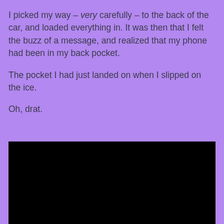I picked my way – very carefully – to the back of the car, and loaded everything in. It was then that I felt the buzz of a message, and realized that my phone had been in my back pocket.
The pocket I had just landed on when I slipped on the ice.
Oh, drat.
[Figure (photo): A large black rectangle, likely a dark/night photograph or redacted image area.]